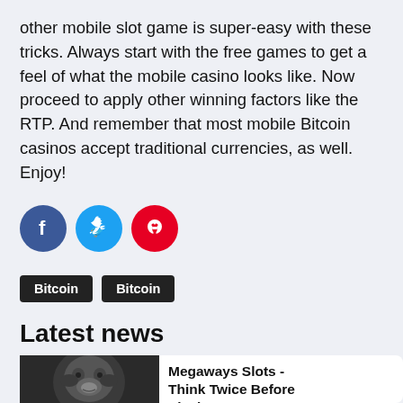other mobile slot game is super-easy with these tricks. Always start with the free games to get a feel of what the mobile casino looks like. Now proceed to apply other winning factors like the RTP. And remember that most mobile Bitcoin casinos accept traditional currencies, as well. Enjoy!
[Figure (other): Row of three circular social media icons: Facebook (dark blue), Twitter (light blue), Pinterest (red)]
Bitcoin  Bitcoin
Latest news
[Figure (photo): Black and white close-up photo of a monkey face]
Megaways Slots - Think Twice Before Playing